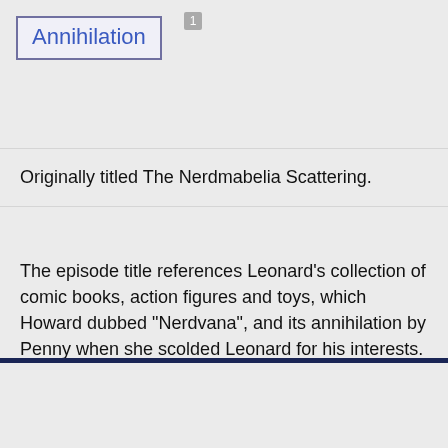Annihilation
Originally titled The Nerdmabelia Scattering.
The episode title references Leonard's collection of comic books, action figures and toys, which Howard dubbed "Nerdvana", and its annihilation by Penny when she scolded Leonard for his interests.